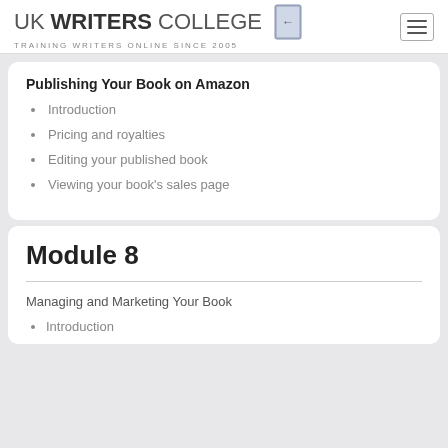UK WRITERS COLLEGE — TRAINING WRITERS ONLINE SINCE 2005
Publishing Your Book on Amazon
Introduction
Pricing and royalties
Editing your published book
Viewing your book's sales page
Module 8
Managing and Marketing Your Book
Introduction